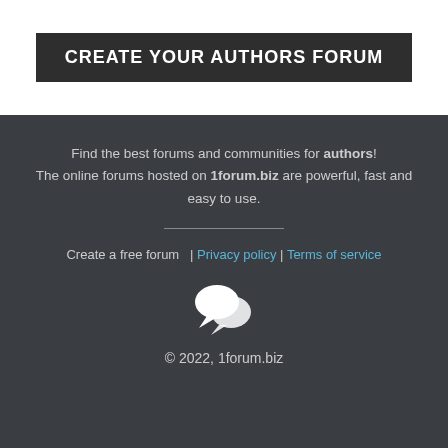CREATE YOUR AUTHORS FORUM
Find the best forums and communities for authors! The online forums hosted on 1forum.biz are powerful, fast and easy to use.
Create a free forum  | Privacy policy | Terms of service
[Figure (illustration): Chat bubble icon with two overlapping speech bubbles in white]
© 2022, 1forum.biz